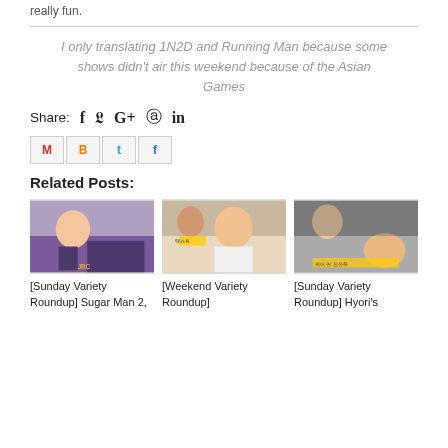really fun.
I only translating 1N2D and Running Man because some shows didn't air this weekend because of the Asian Games
Share: f t G+ p in
[Figure (other): Social sharing buttons: Mail, Blogger, Twitter, Facebook]
Related Posts:
[Figure (photo): Thumbnail for Sunday Variety Roundup - Sugar Man 2]
[Sunday Variety Roundup] Sugar Man 2,
[Figure (photo): Thumbnail for Weekend Variety Roundup]
[Weekend Variety Roundup]
[Figure (photo): Thumbnail for Sunday Variety Roundup - Hyori's]
[Sunday Variety Roundup] Hyori's